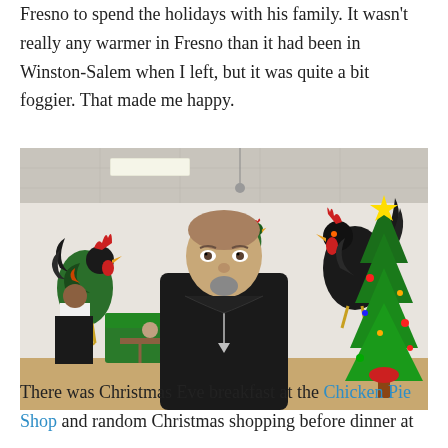Fresno to spend the holidays with his family. It wasn't really any warmer in Fresno than it had been in Winston-Salem when I left, but it was quite a bit foggier. That made me happy.
[Figure (photo): A man in a black hoodie standing in a diner decorated with rooster murals and a Christmas tree. Other diners are seated in the background.]
There was Christmas Eve breakfast at the Chicken Pie Shop and random Christmas shopping before dinner at